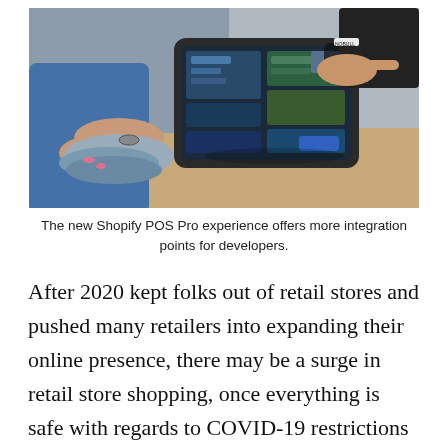[Figure (photo): A retail point-of-sale scene showing a Shopify POS terminal (tablet on a stand) being tapped by a customer's hand, while a store associate holds folded fabric/clothing. The tablet displays a colorful POS interface.]
The new Shopify POS Pro experience offers more integration points for developers.
After 2020 kept folks out of retail stores and pushed many retailers into expanding their online presence, there may be a surge in retail store shopping, once everything is safe with regards to COVID-19 restrictions and the vaccine. This could include a return to the